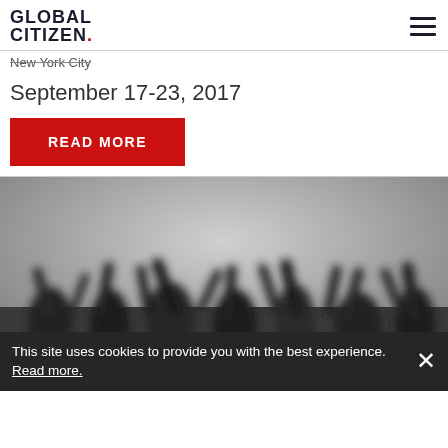GLOBAL CITIZEN.
New York City
September 17-23, 2017
READ MORE
[Figure (photo): Black and white photo of a crowd with hands raised at an outdoor event]
This site uses cookies to provide you with the best experience. Read more.